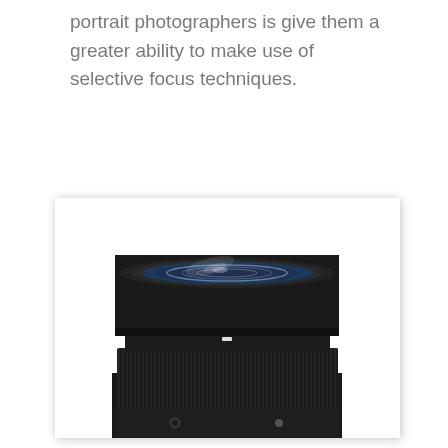portrait photographers is give them a greater ability to make use of selective focus techniques.
[Figure (photo): A black camera lens (appears to be a Sigma prime lens) photographed from the front-top angle, showing the front element, lens barrel with ribbed focus ring, and lower body of the lens against a white background.]